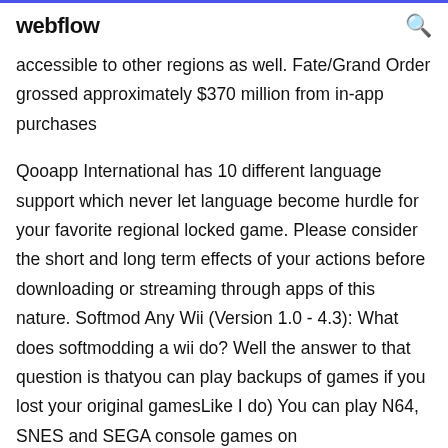webflow
accessible to other regions as well. Fate/Grand Order grossed approximately $370 million from in-app purchases
Qooapp International has 10 different language support which never let language become hurdle for your favorite regional locked game. Please consider the short and long term effects of your actions before downloading or streaming through apps of this nature. Softmod Any Wii (Version 1.0 - 4.3): What does softmodding a wii do? Well the answer to that question is thatyou can play backups of games if you lost your original gamesLike I do) You can play N64, SNES and SEGA console games on